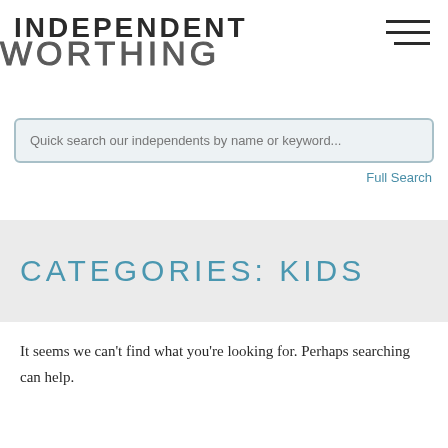INDEPENDENT WORTHING
Quick search our independents by name or keyword...
Full Search
CATEGORIES: KIDS
It seems we can’t find what you’re looking for. Perhaps searching can help.